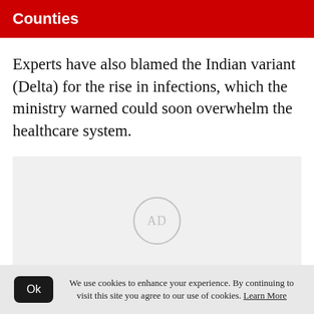Counties
Experts have also blamed the Indian variant (Delta) for the rise in infections, which the ministry warned could soon overwhelm the healthcare system.
[Figure (other): Advertisement placeholder box with 'AD' text in a circle, light grey background]
We use cookies to enhance your experience. By continuing to visit this site you agree to our use of cookies. Learn More